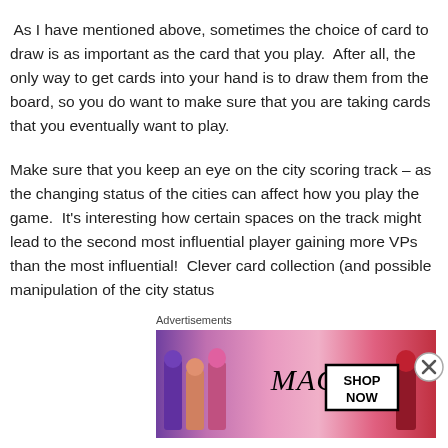As I have mentioned above, sometimes the choice of card to draw is as important as the card that you play.  After all, the only way to get cards into your hand is to draw them from the board, so you do want to make sure that you are taking cards that you eventually want to play.
Make sure that you keep an eye on the city scoring track – as the changing status of the cities can affect how you play the game.  It's interesting how certain spaces on the track might lead to the second most influential player gaining more VPs than the most influential!  Clever card collection (and possible manipulation of the city status
Advertisements
[Figure (illustration): MAC cosmetics advertisement showing lipsticks in purple, pink, and red colors with MAC logo and SHOP NOW button]